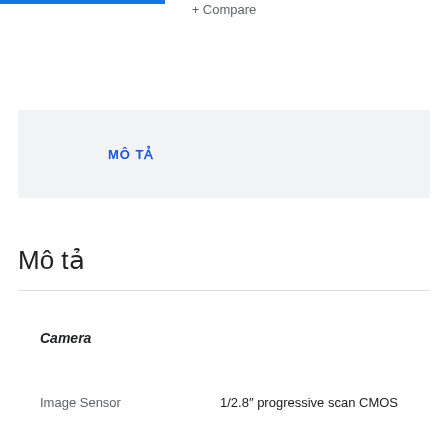+ Compare
MÔ TẢ
Mô tả
Camera
Image Sensor    1/2.8″ progressive scan CMOS